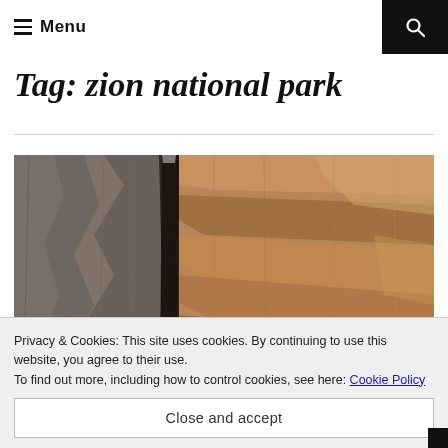Menu
Tag: zion national park
[Figure (photo): Narrow slot canyon with tall sandstone walls in warm orange, brown and grey tones — likely The Narrows or a similar slot canyon at Zion National Park.]
Privacy & Cookies: This site uses cookies. By continuing to use this website, you agree to their use.
To find out more, including how to control cookies, see here: Cookie Policy
Close and accept